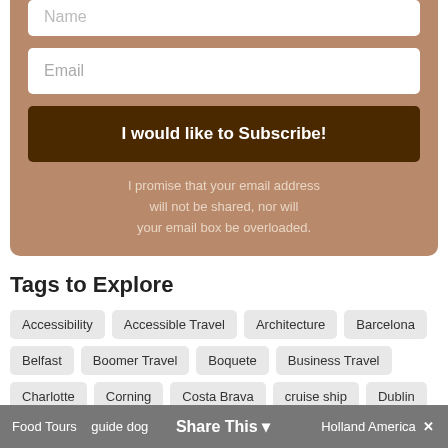[Figure (screenshot): Subscription form partial showing Name field (cut off at top), Email input field, 'I would like to Subscribe!' button, and privacy promise text, all on a tan/brown background.]
Tags to Explore
Accessibility
Accessible Travel
Architecture
Barcelona
Belfast
Boomer Travel
Boquete
Business Travel
Charlotte
Corning
Costa Brava
cruise ship
Dublin
England
Europe
Family Friendly
Fiction
Finger Lakes
Florida
Food Tours
guide dog
Holland America
Share This ✕